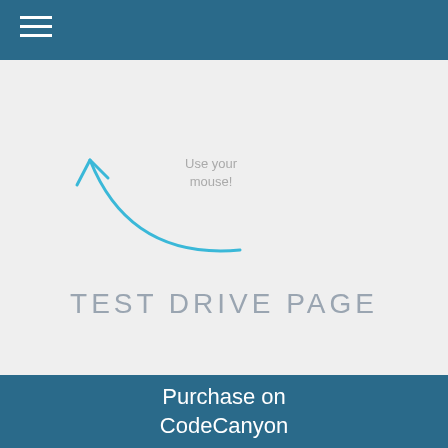≡ (hamburger menu icon)
[Figure (illustration): A curved blue arrow pointing upward-left, indicating mouse interaction]
Use your mouse!
TEST DRIVE PAGE
Purchase on CodeCanyon